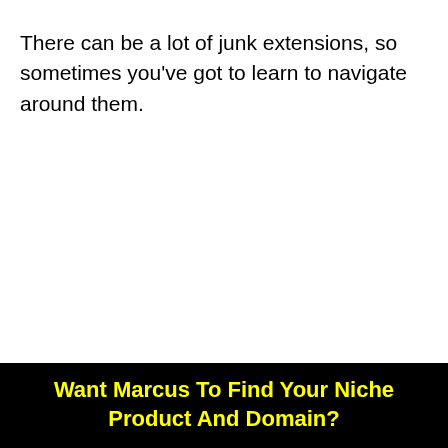There can be a lot of junk extensions, so sometimes you've got to learn to navigate around them.
Want Marcus To Find Your Niche Product And Domain?